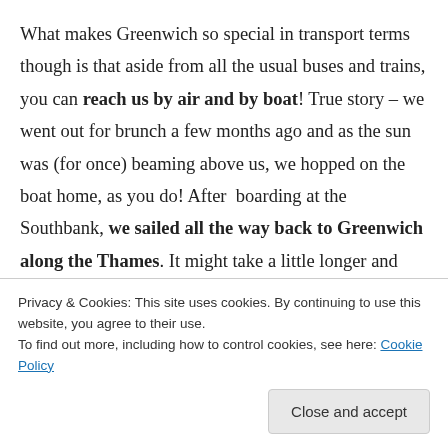What makes Greenwich so special in transport terms though is that aside from all the usual buses and trains, you can reach us by air and by boat! True story – we went out for brunch a few months ago and as the sun was (for once) beaming above us, we hopped on the boat home, as you do! After  boarding at the Southbank, we sailed all the way back to Greenwich along the Thames. It might take a little longer and cost a little more but you'll escape the whole sardines-in-a-tin-can
Privacy & Cookies: This site uses cookies. By continuing to use this website, you agree to their use.
To find out more, including how to control cookies, see here: Cookie Policy
Close and accept